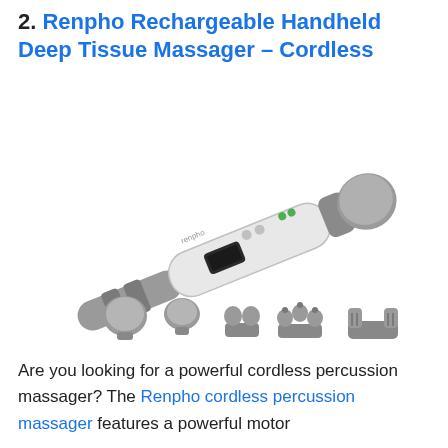2. Renpho Rechargeable Handheld Deep Tissue Massager – Cordless
[Figure (photo): Photo of the Renpho Rechargeable Handheld Deep Tissue Massager (cordless), a white and grey wand-style massager shown at an angle, with five interchangeable massage head attachments displayed below it.]
Are you looking for a powerful cordless percussion massager? The Renpho cordless percussion massager features a powerful motor